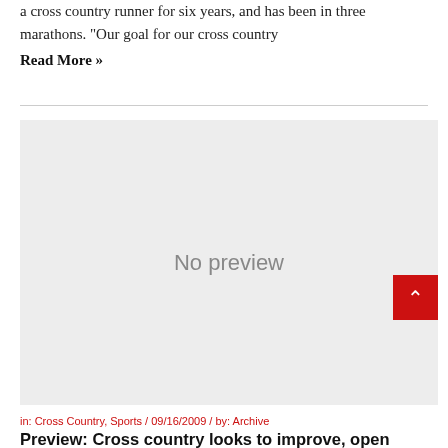a cross country runner for six years, and has been in three marathons. “Our goal for our cross country
Read More »
[Figure (other): Gray placeholder image with text 'No preview' centered]
in: Cross Country, Sports / 09/16/2009 / by: Archive
Preview: Cross country looks to improve, open